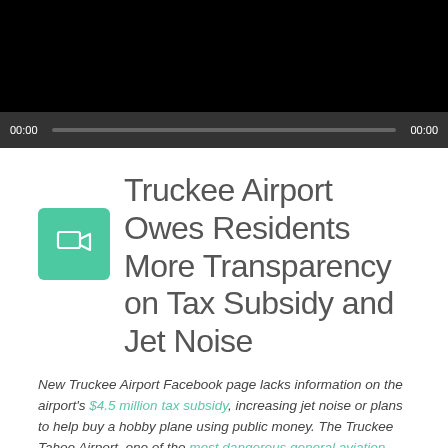[Figure (screenshot): Video player with black screen and dark controls bar showing 00:00 timestamps and a progress bar]
Truckee Airport Owes Residents More Transparency on Tax Subsidy and Jet Noise
New Truckee Airport Facebook page lacks information on the airport's $4.5 million tax subsidy, increasing jet noise or plans to help buy a hobby plane using public money. The Truckee Tahoe Airport, one of the most dangerous general aviation airports in the United States, is located near the downtown area of the mountain resort town of Truckee,